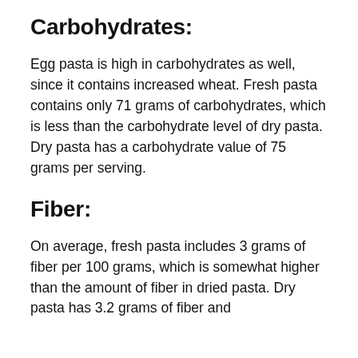Carbohydrates:
Egg pasta is high in carbohydrates as well, since it contains increased wheat. Fresh pasta contains only 71 grams of carbohydrates, which is less than the carbohydrate level of dry pasta. Dry pasta has a carbohydrate value of 75 grams per serving.
Fiber:
On average, fresh pasta includes 3 grams of fiber per 100 grams, which is somewhat higher than the amount of fiber in dried pasta. Dry pasta has 3.2 grams of fiber and